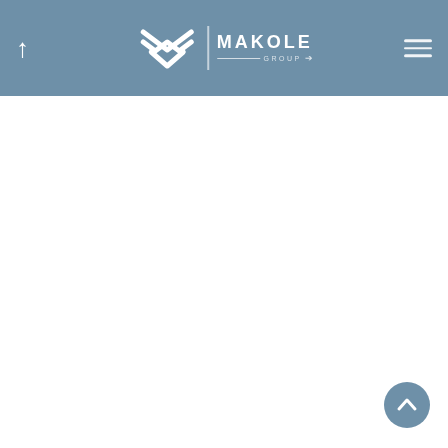Makole Group website header with logo and navigation
[Figure (logo): Makole Group logo: stylized M chevron icon in white with vertical divider line and MAKOLE GROUP text in white on steel-blue header bar. Back/up arrow on left, hamburger menu on right.]
[Figure (other): Loading spinner (arc circle) in light blue/steel color, positioned top-left below header]
[Figure (other): Scroll-to-top circular button with upward chevron arrow in white on steel-blue circle, positioned bottom-right corner]